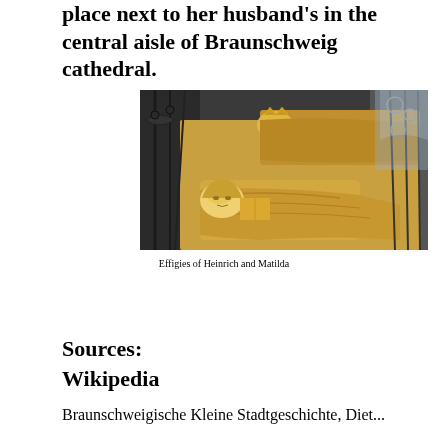place next to her husband's in the central aisle of Braunschweig cathedral.
[Figure (photo): Photograph of golden effigies of Heinrich and Matilda lying in repose, with ornate black ironwork railings around them, inside Braunschweig cathedral.]
Effigies of Heinrich and Matilda
Sources:
Wikipedia
Braunschweigische Kleine Stadtgeschichte, Diet...